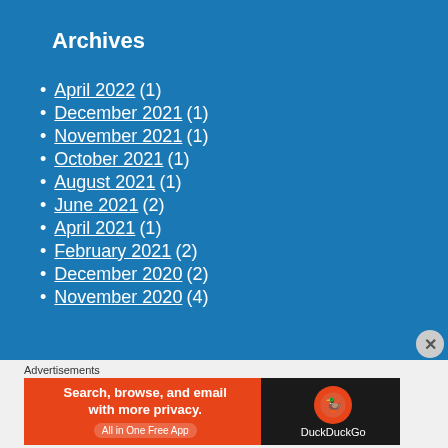Archives
April 2022 (1)
December 2021 (1)
November 2021 (1)
October 2021 (1)
August 2021 (1)
June 2021 (2)
April 2021 (1)
February 2021 (2)
December 2020 (2)
November 2020 (4)
Advertisements
[Figure (screenshot): DuckDuckGo advertisement banner: Search, browse, and email with more privacy. All in One Free App]